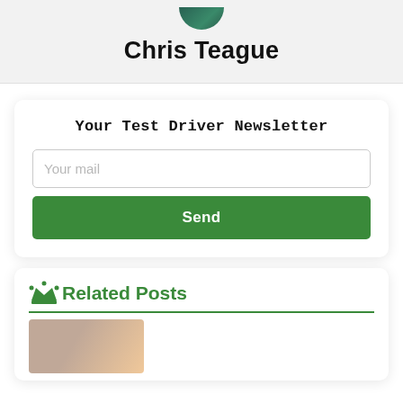Chris Teague
Your Test Driver Newsletter
Your mail
Send
Related Posts